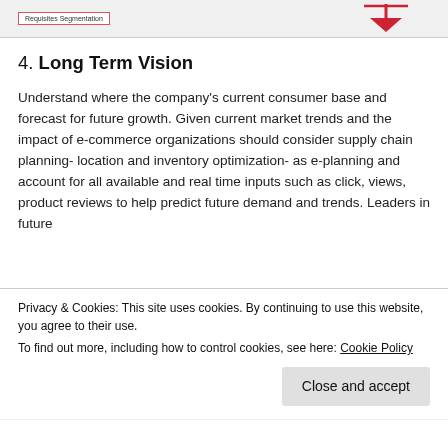[Figure (schematic): Top cropped image showing a pink/red bordered box labeled 'Requisites Segmentation' and a red downward arrow on the right side, on a light gray background.]
4. Long Term Vision
Understand where the company's current consumer base and forecast for future growth. Given current market trends and the impact of e-commerce organizations should consider supply chain planning- location and inventory optimization- as e-planning and account for all available and real time inputs such as click, views, product reviews to help predict future demand and trends. Leaders in future
Privacy & Cookies: This site uses cookies. By continuing to use this website, you agree to their use.
To find out more, including how to control cookies, see here: Cookie Policy
Close and accept